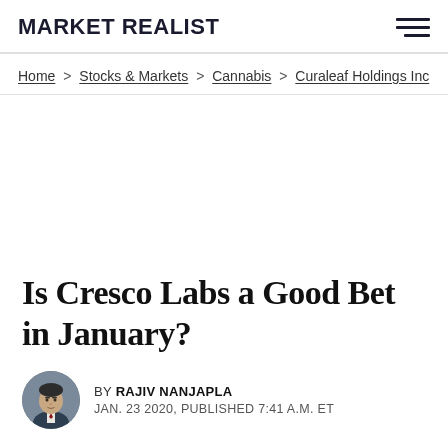MARKET REALIST
Home > Stocks & Markets > Cannabis > Curaleaf Holdings Inc
Is Cresco Labs a Good Bet in January?
BY RAJIV NANJAPLA
JAN. 23 2020, PUBLISHED 7:41 A.M. ET